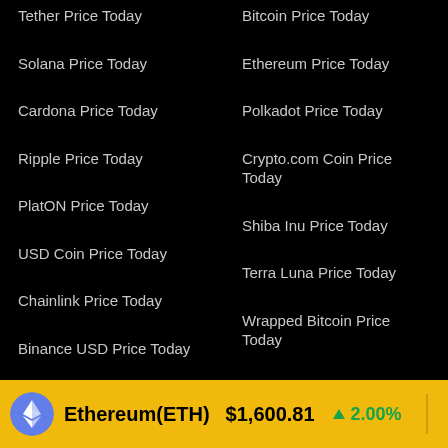Tether Price Today
Bitcoin Price Today
Solana Price Today
Ethereum Price Today
Cardona Price Today
Polkadot Price Today
Ripple Price Today
Crypto.com Coin Price Today
PlatON Price Today
Shiba Inu Price Today
USD Coin Price Today
Terra Luna Price Today
Chainlink Price Today
Wrapped Bitcoin Price Today
Binance USD Price Today
TerraUSD Price Today
SOLACE Live Price Today
Ethereum(ETH) $1,600.81 ↑ 2.00%   Tether(USDT)